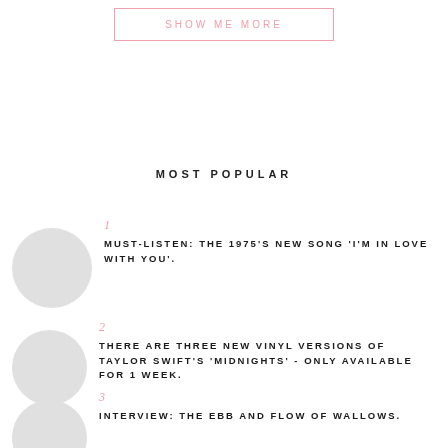SHOW ME MORE
MOST POPULAR
1
MUST-LISTEN: THE 1975'S NEW SONG 'I'M IN LOVE WITH YOU'.
2
THERE ARE THREE NEW VINYL VERSIONS OF TAYLOR SWIFT'S 'MIDNIGHTS' - ONLY AVAILABLE FOR 1 WEEK.
3
INTERVIEW: THE EBB AND FLOW OF WALLOWS.